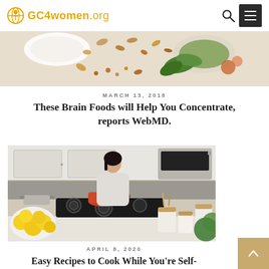GC4women.org
[Figure (photo): Top-down view of various foods including nuts, greens, and spices on a white surface]
MARCH 13, 2018
These Brain Foods will Help You Concentrate, reports WebMD.
[Figure (photo): A woman stirring a pot on a gas stove in a modern kitchen with lemons and kitchen canisters in the foreground]
APRIL 8, 2020
Easy Recipes to Cook While You're Self-Quarantined